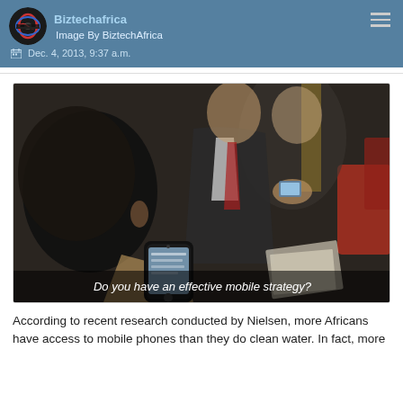Biztechafrica — Image By BiztechAfrica — Dec. 4, 2013, 9:37 a.m.
[Figure (photo): Two people in business attire using smartphones at what appears to be a conference or meeting. One person in foreground holding a black iPhone, another in background holding a phone with a glowing screen. Caption overlay reads: Do you have an effective mobile strategy?]
Do you have an effective mobile strategy?
According to recent research conducted by Nielsen, more Africans have access to mobile phones than they do clean water. In fact, more